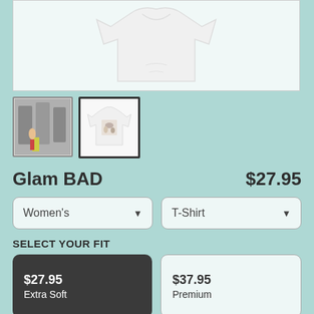[Figure (photo): Main product image of a white t-shirt on a light background]
[Figure (photo): Thumbnail 1: artwork print photo]
[Figure (photo): Thumbnail 2: white t-shirt with print, selected]
Glam BAD
$27.95
Women's
T-Shirt
SELECT YOUR FIT
$27.95
Extra Soft
$37.95
Premium